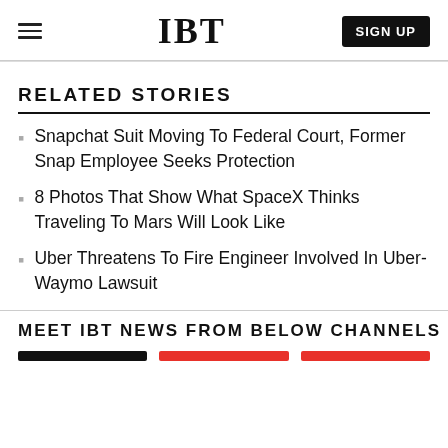IBT  SIGN UP
RELATED STORIES
Snapchat Suit Moving To Federal Court, Former Snap Employee Seeks Protection
8 Photos That Show What SpaceX Thinks Traveling To Mars Will Look Like
Uber Threatens To Fire Engineer Involved In Uber-Waymo Lawsuit
MEET IBT NEWS FROM BELOW CHANNELS